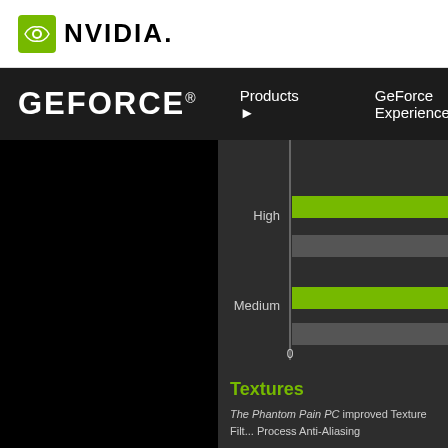[Figure (logo): NVIDIA logo with green eye icon and NVIDIA wordmark in black on white background]
GEFORCE® Products ▶ GeForce Experience
[Figure (screenshot): GeForce Experience settings UI showing a bar chart with High and Medium quality presets with green bars on dark background. Below is a Textures section with description text about The Phantom Pain PC improved Texture Filtering and Process Anti-Aliasing, and As in Ground Zeroes.]
Textures
The Phantom Pain PC improved Texture Filt... Process Anti-Aliasing
As in Ground Zeroes